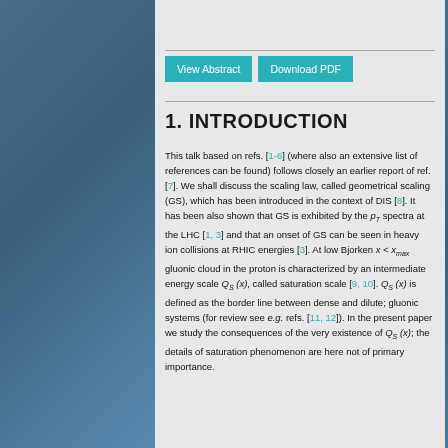[Figure (photo): Scientific background image with molecular structures and laboratory glassware on blue background, flanking a grey central panel]
1. INTRODUCTION
This talk based on refs. [1-6] (where also an extensive list of references can be found) follows closely an earlier report of ref. [7]. We shall discuss the scaling law, called geometrical scaling (GS), which has been introduced in the context of DIS [8]. It has been also shown that GS is exhibited by the pT spectra at the LHC [1, 3] and that an onset of GS can be seen in heavy ion collisions at RHIC energies [3]. At low Bjorken x < xmax gluonic cloud in the proton is characterized by an intermediate energy scale QS (x), called saturation scale [9, 10]. QS (x) is defined as the border line between dense and dilute; gluonic systems (for review see e.g. refs. [11, 12]). In the present paper we study the consequences of the very existence of QS (x); the details of saturation phenomenon are here not of primary importance.